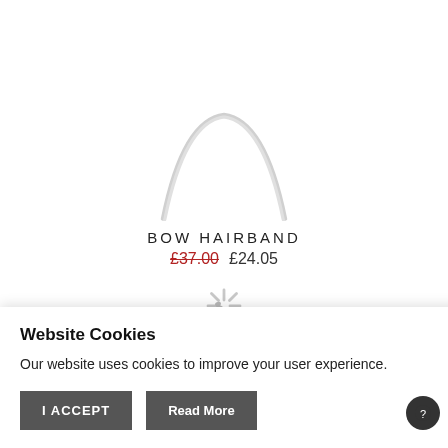[Figure (photo): White bow hairband product image on white background, showing upper portion of a hairband arc]
BOW HAIRBAND
£37.00  £24.05
[Figure (other): Loading spinner / asterisk icon in light grey]
Instagram
Website Cookies
Our website uses cookies to improve your user experience.
I ACCEPT   Read More